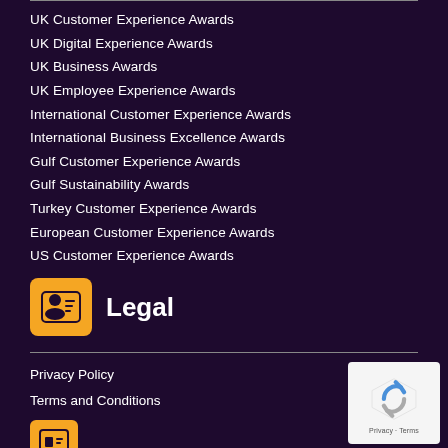UK Customer Experience Awards
UK Digital Experience Awards
UK Business Awards
UK Employee Experience Awards
International Customer Experience Awards
International Business Excellence Awards
Gulf Customer Experience Awards
Gulf Sustainability Awards
Turkey Customer Experience Awards
European Customer Experience Awards
US Customer Experience Awards
Legal
Privacy Policy
Terms and Conditions